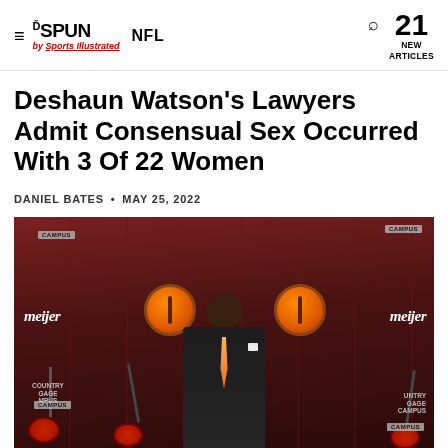THE SPUN by Sports Illustrated  NFL  21 NEW ARTICLES
Deshaun Watson's Lawyers Admit Consensual Sex Occurred With 3 Of 22 Women
DANIEL BATES • MAY 25, 2022
[Figure (photo): Deshaun Watson at a Cleveland Browns press conference, wearing a dark suit with an orange tie, standing in front of a branded backdrop with meijer and Cleveland Browns logos, with multiple microphones in the foreground]